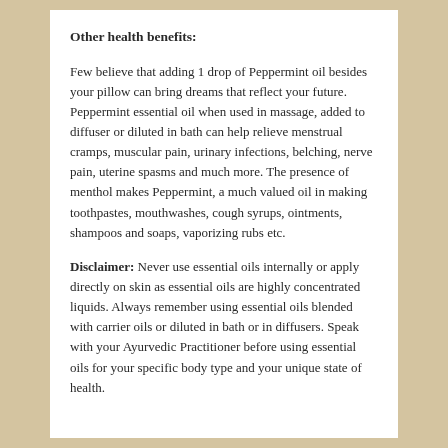Other health benefits:
Few believe that adding 1 drop of Peppermint oil besides your pillow can bring dreams that reflect your future. Peppermint essential oil when used in massage, added to diffuser or diluted in bath can help relieve menstrual cramps, muscular pain, urinary infections, belching, nerve pain, uterine spasms and much more. The presence of menthol makes Peppermint, a much valued oil in making toothpastes, mouthwashes, cough syrups, ointments, shampoos and soaps, vaporizing rubs etc.
Disclaimer: Never use essential oils internally or apply directly on skin as essential oils are highly concentrated liquids. Always remember using essential oils blended with carrier oils or diluted in bath or in diffusers. Speak with your Ayurvedic Practitioner before using essential oils for your specific body type and your unique state of health.